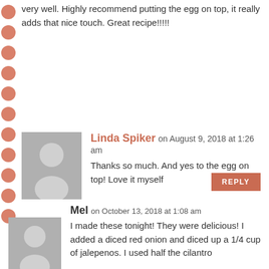very well. Highly recommend putting the egg on top, it really adds that nice touch. Great recipe!!!!!
[Figure (other): User avatar placeholder (gray silhouette) for Linda Spiker]
Linda Spiker on August 9, 2018 at 1:26 am
Thanks so much. And yes to the egg on top! Love it myself
[Figure (other): User avatar placeholder (gray silhouette) for Mel]
Mel on October 13, 2018 at 1:08 am
I made these tonight! They were delicious! I added a diced red onion and diced up a 1/4 cup of jalepenos. I used half the cilantro